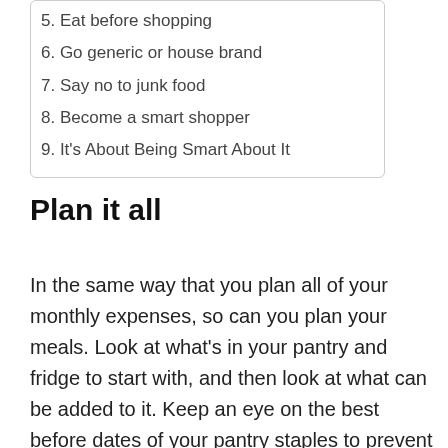5. Eat before shopping
6. Go generic or house brand
7. Say no to junk food
8. Become a smart shopper
9. It's About Being Smart About It
Plan it all
In the same way that you plan all of your monthly expenses, so can you plan your meals. Look at what's in your pantry and fridge to start with, and then look at what can be added to it. Keep an eye on the best before dates of your pantry staples to prevent